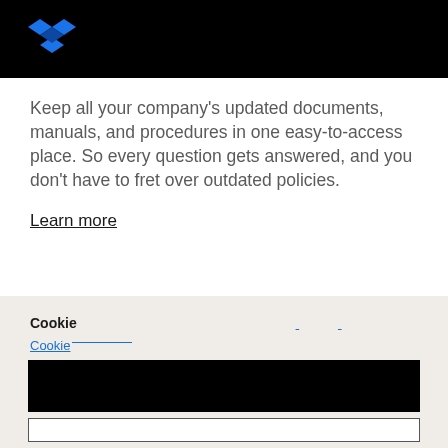Dropbox logo header
Keep all your company’s updated documents, manuals, and procedures in one easy-to-access place. So every question gets answered, and you don’t have to fret over outdated policies.
Learn more
Cookie
Cookie
[Figure (screenshot): Black bar UI element]
[Figure (screenshot): White bordered box UI element]